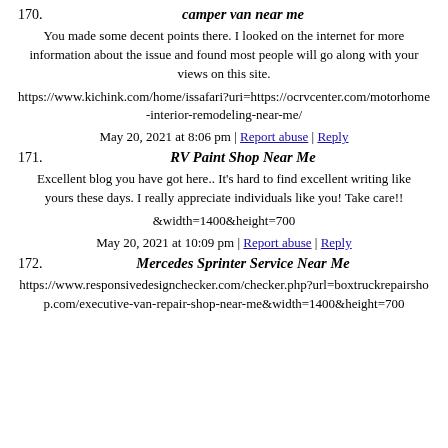170. camper van near me
You made some decent points there. I looked on the internet for more information about the issue and found most people will go along with your views on this site.
https://www.kichink.com/home/issafari?uri=https://ocrvcenter.com/motorhome-interior-remodeling-near-me/
May 20, 2021 at 8:06 pm | Report abuse | Reply
171. RV Paint Shop Near Me
Excellent blog you have got here.. It's hard to find excellent writing like yours these days. I really appreciate individuals like you! Take care!!
&width=1400&height=700
May 20, 2021 at 10:09 pm | Report abuse | Reply
172. Mercedes Sprinter Service Near Me
https://www.responsivedesignchecker.com/checker.php?url=boxtruckrepairshop.com/executive-van-repair-shop-near-me&width=1400&height=700